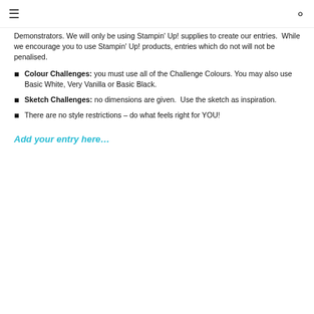≡  🔍
Demonstrators. We will only be using Stampin' Up! supplies to create our entries.  While we encourage you to use Stampin' Up! products, entries which do not will not be penalised.
Colour Challenges: you must use all of the Challenge Colours. You may also use Basic White, Very Vanilla or Basic Black.
Sketch Challenges: no dimensions are given.  Use the sketch as inspiration.
There are no style restrictions – do what feels right for YOU!
Add your entry here…